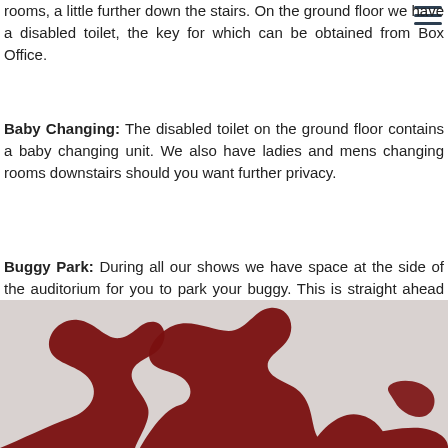rooms, a little further down the stairs. On the ground floor we have a disabled toilet, the key for which can be obtained from Box Office.
Baby Changing: The disabled toilet on the ground floor contains a baby changing unit. We also have ladies and mens changing rooms downstairs should you want further privacy.
Buggy Park: During all our shows we have space at the side of the auditorium for you to park your buggy. This is straight ahead as you enter the auditorium, to the left of the stage.
[Figure (illustration): Dark red splat/handprint illustration on a light grey background, partially visible at the bottom of the page.]